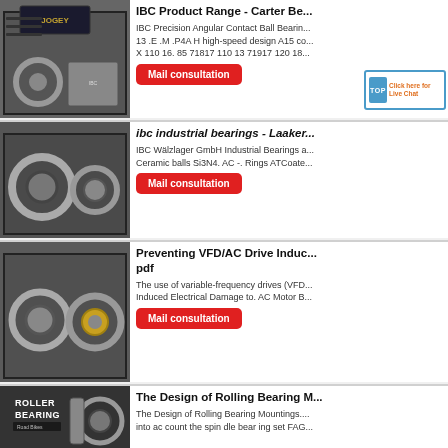[Figure (photo): IBC precision angular contact ball bearing product photo with JOGEY branding box]
IBC Product Range - Carter Be...
IBC Precision Angular Contact Ball Bearin... 13 .E .M .P4A H high-speed design A15 co... X 110 16. 85 71817 110 13 71917 120 18...
[Figure (other): Mail consultation button (red)]
[Figure (other): TOP Click here for Live Chat badge]
[Figure (photo): IBC industrial bearings product photo showing large industrial bearings]
ibc industrial bearings - Laaker...
IBC Wälzlager GmbH Industrial Bearings a... Ceramic balls Si3N4. AC -. Rings ATCoate...
[Figure (other): Mail consultation button (red)]
[Figure (photo): Industrial spherical roller bearings product photo]
Preventing VFD/AC Drive Indu... pdf
The use of variable-frequency drives (VFD... Induced Electrical Damage to. AC Motor B...
[Figure (other): Mail consultation button (red)]
[Figure (photo): Rolling Bearing Mountings book cover with roller bearing image]
The Design of Rolling Bearing M...
The Design of Rolling Bearing Mountings.... into ac count the spin dle bear ing set FAG...